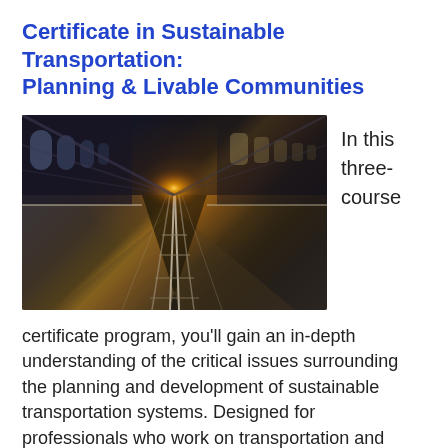Certificate in Sustainable Transportation: Planning & Livable Communities
[Figure (photo): Perspective view of a modern train station platform with railway tracks converging toward a bright sunburst at the horizon. The platform has a curved roof structure on the left, and the warm golden light of sunset illuminates the scene.]
In this three-course
certificate program, you'll gain an in-depth understanding of the critical issues surrounding the planning and development of sustainable transportation systems. Designed for professionals who work on transportation and sustainability